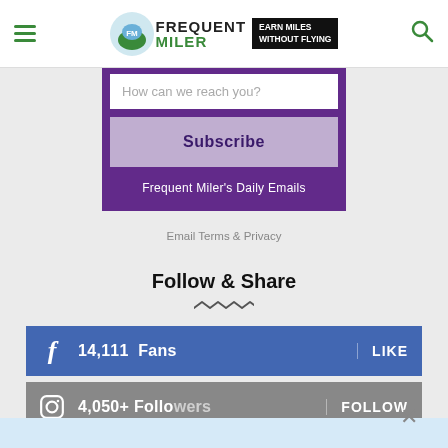Frequent Miler — Earn Miles Without Flying
How can we reach you?
Subscribe
Frequent Miler's Daily Emails
Email Terms & Privacy
Follow & Share
14,111  Fans  LIKE
4,050+ Followers  FOLLOW